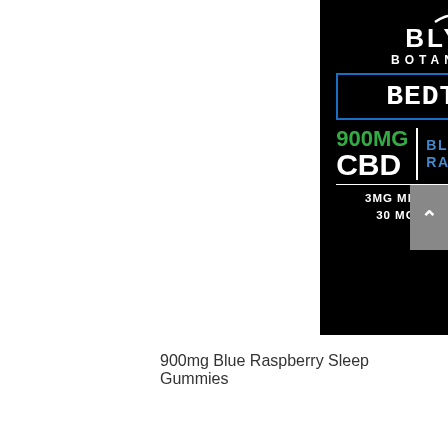[Figure (photo): Product label for Blyss Botanicals Bedtime CBD gummies: 900MG CBD, Blue Raspberry flavor, 3MG Melatonin Per Bear, 30 MG Each / 30 Count. Black background with white, green, and blue text. Blue rectangular border around BEDTIME with ZzZ sleep icons.]
900mg Blue Raspberry Sleep Gummies